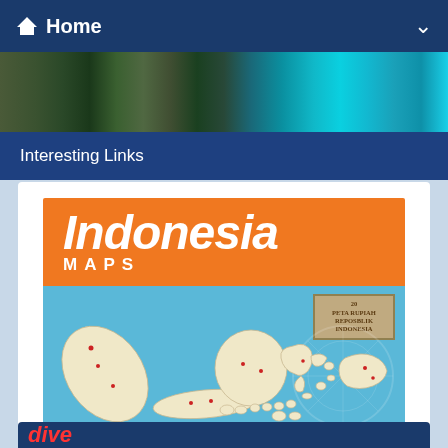Home
[Figure (photo): Panoramic hero image strip showing Indonesian landscapes including temples, volcanic terrain, and tropical turquoise waters]
Interesting Links
[Figure (map): Indonesia Maps promotional image with orange header showing 'Indonesia MAPS' text and a map of the Indonesian archipelago on a blue background with a postage stamp in the upper right corner]
[Figure (photo): Partially visible bottom card with diving-related imagery, text partially cut off]